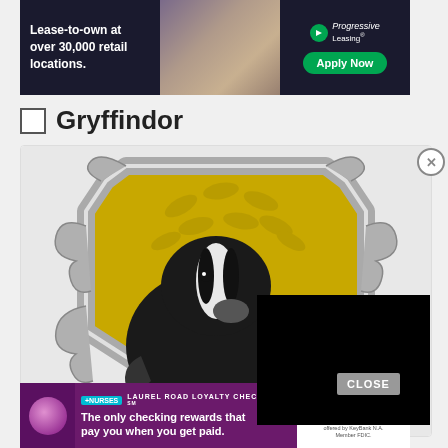[Figure (photo): Top banner advertisement for Progressive Leasing: 'Lease-to-own at over 30,000 retail locations.' with Apply Now button and photo of person in interior setting]
☐ Gryffindor
[Figure (illustration): Hufflepuff house crest featuring a badger on a yellow shield with silver decorative border, partially obscured by a black video player overlay with a close button]
[Figure (photo): Bottom banner advertisement for Laurel Road Loyalty Checking for nurses: 'The only checking rewards that pay you when you get paid.']